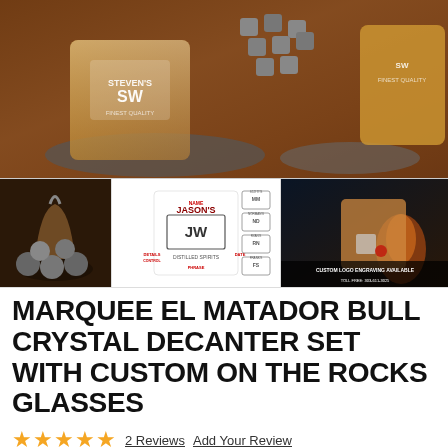[Figure (photo): Main product photo showing two personalized whiskey rocks glasses with 'SW' monogram engraving on a wooden surface, with gray whiskey stones/ice cubes scattered around]
[Figure (photo): Three thumbnail images: left shows bull crystal decanter set with round stones; center shows personalized label design guide for Jason's JW glass; right shows close-up of a whiskey glass with ice and cherry]
MARQUEE EL MATADOR BULL CRYSTAL DECANTER SET WITH CUSTOM ON THE ROCKS GLASSES
★★★★★ 2 Reviews Add Your Review
IN STOCK   SKU  8420